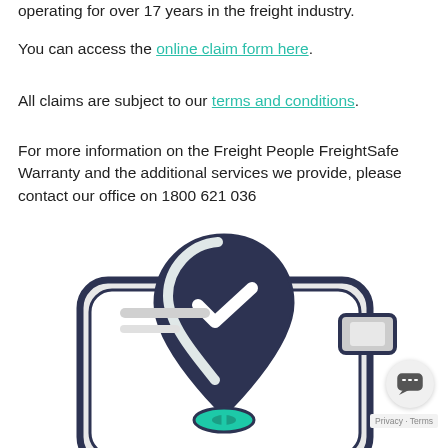operating for over 17 years in the freight industry.
You can access the online claim form here.
All claims are subject to our terms and conditions.
For more information on the Freight People FreightSafe Warranty and the additional services we provide, please contact our office on 1800 621 036
[Figure (illustration): Illustration of a smartphone with a location pin marker containing a white checkmark, rendered in dark navy and teal colors, suggesting freight tracking or verified delivery.]